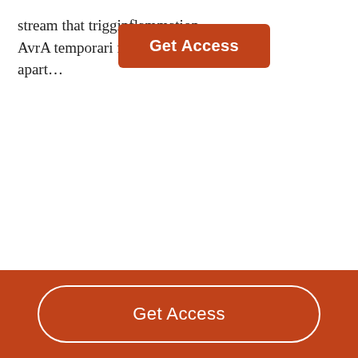stream that trigg­elli­­­inflam­mation. AvrA temporari­­­ from breaking apart…
[Figure (other): Orange 'Get Access' button overlay covering part of the text]
[Figure (other): Orange footer bar with a pill-shaped 'Get Access' button outlined in white]